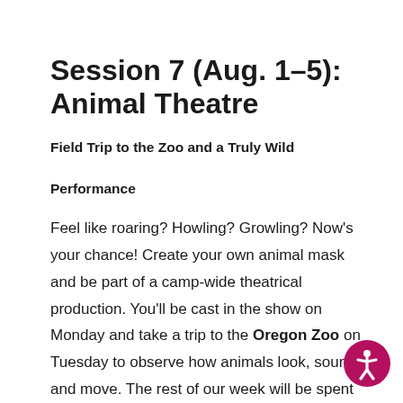Session 7 (Aug. 1–5): Animal Theatre
Field Trip to the Zoo and a Truly Wild Performance
Feel like roaring? Howling? Growling? Now's your chance! Create your own animal mask and be part of a camp-wide theatrical production. You'll be cast in the show on Monday and take a trip to the Oregon Zoo on Tuesday to observe how animals look, sound and move. The rest of our week will be spent